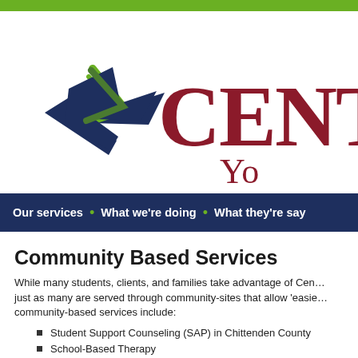[Figure (logo): Center organization logo with star/arrow graphic in navy and green, text 'CENTE' and 'Yo' visible, dark red serif font]
Our services • What we're doing • What they're say
Community Based Services
While many students, clients, and families take advantage of Cent... just as many are served through community-sites that allow 'easie... community-based services include:
Student Support Counseling (SAP) in Chittenden County
School-Based Therapy
Screening, brief intervention, and access to services an...